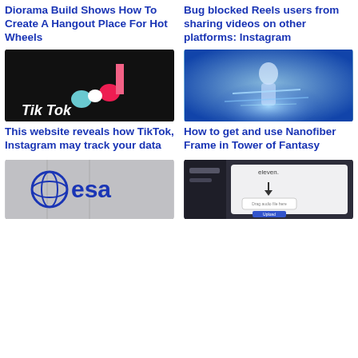Diorama Build Shows How To Create A Hangout Place For Hot Wheels
Bug blocked Reels users from sharing videos on other platforms: Instagram
[Figure (photo): TikTok logo on dark background]
[Figure (photo): Anime character from Tower of Fantasy with blue energy effects]
This website reveals how TikTok, Instagram may track your data
How to get and use Nanofiber Frame in Tower of Fantasy
[Figure (photo): ESA (European Space Agency) logo on building]
[Figure (screenshot): Eleven app or website screenshot with dark sidebar and download interface]